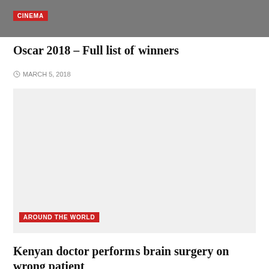[Figure (photo): Dark gray image at top of page, partially visible, appears to be a cinema-related photo]
CINEMA
Oscar 2018 – Full list of winners
MARCH 5, 2018
[Figure (photo): Large light gray placeholder image block for article content]
AROUND THE WORLD
Kenyan doctor performs brain surgery on wrong patient